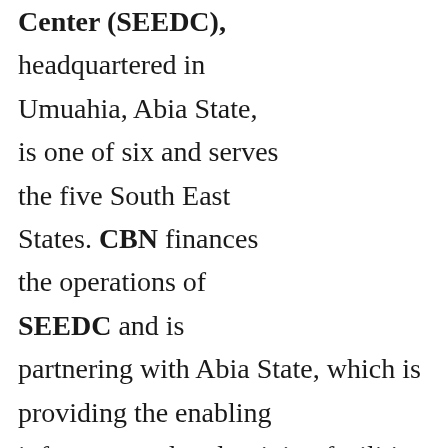Center (SEEDC), headquartered in Umuahia, Abia State, is one of six and serves the five South East States. CBN finances the operations of SEEDC and is partnering with Abia State, which is providing the enabling infrastructural and training facilities to support the smooth and effective operation and delivery of requisite services to trainees. The State Government is providing counterpart funding and start-up capital for